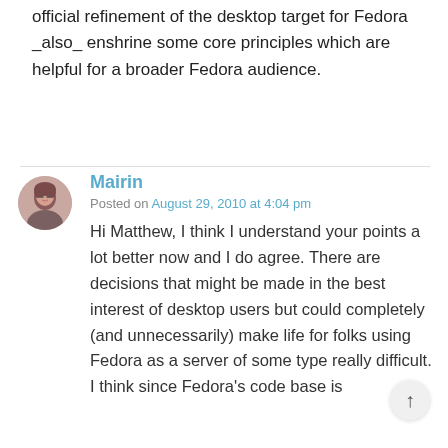official refinement of the desktop target for Fedora _also_ enshrine some core principles which are helpful for a broader Fedora audience.
Mairin
Posted on August 29, 2010 at 4:04 pm
Hi Matthew, I think I understand your points a lot better now and I do agree. There are decisions that might be made in the best interest of desktop users but could completely (and unnecessarily) make life for folks using Fedora as a server of some type really difficult. I think since Fedora's code base is